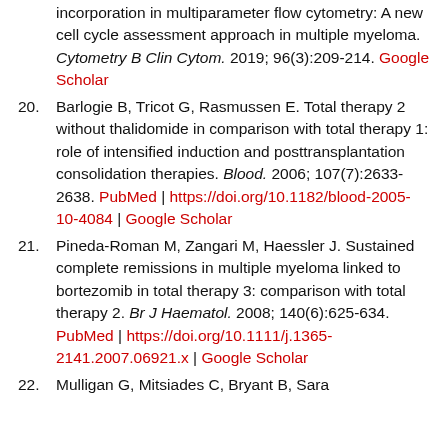incorporation in multiparameter flow cytometry: A new cell cycle assessment approach in multiple myeloma. Cytometry B Clin Cytom. 2019; 96(3):209-214. Google Scholar
20. Barlogie B, Tricot G, Rasmussen E. Total therapy 2 without thalidomide in comparison with total therapy 1: role of intensified induction and posttransplantation consolidation therapies. Blood. 2006; 107(7):2633-2638. PubMed | https://doi.org/10.1182/blood-2005-10-4084 | Google Scholar
21. Pineda-Roman M, Zangari M, Haessler J. Sustained complete remissions in multiple myeloma linked to bortezomib in total therapy 3: comparison with total therapy 2. Br J Haematol. 2008; 140(6):625-634. PubMed | https://doi.org/10.1111/j.1365-2141.2007.06921.x | Google Scholar
22. Mulligan G, Mitsiades C, Bryant B, Sara...